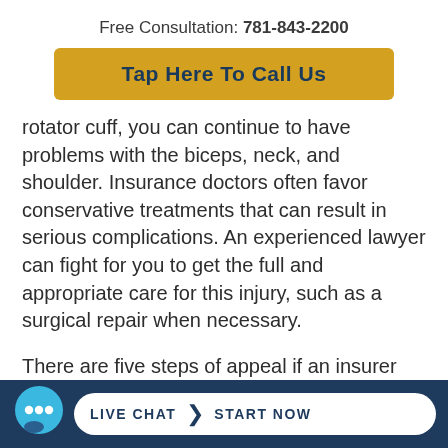Free Consultation: 781-843-2200
Tap Here To Call Us
rotator cuff, you can continue to have problems with the biceps, neck, and shoulder. Insurance doctors often favor conservative treatments that can result in serious complications. An experienced lawyer can fight for you to get the full and appropriate care for this injury, such as a surgical repair when necessary.
There are five steps of appeal if an insurer denies your claim. One stage is the conference stage, if th...
LIVE CHAT  START NOW